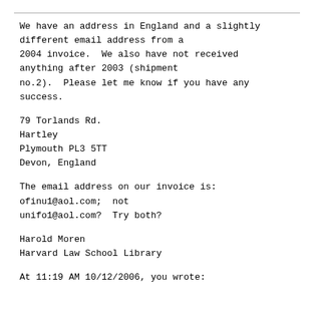We have an address in England and a slightly different email address from a 2004 invoice.  We also have not received anything after 2003 (shipment no.2).  Please let me know if you have any success.
79 Torlands Rd.
Hartley
Plymouth PL3 5TT
Devon, England
The email address on our invoice is:
ofinu1@aol.com;  not
unifo1@aol.com?  Try both?
Harold Moren
Harvard Law School Library
At 11:19 AM 10/12/2006, you wrote: